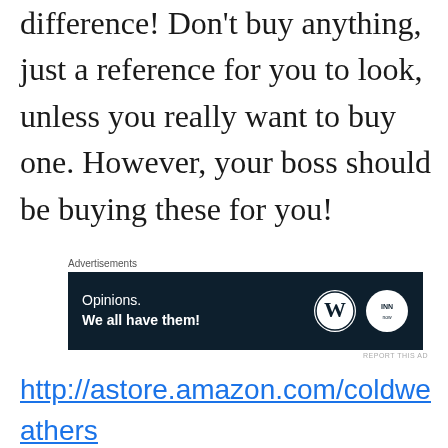difference! Don't buy anything, just a reference for you to look, unless you really want to buy one. However, your boss should be buying these for you!
[Figure (other): Advertisement banner with dark navy background showing 'Opinions. We all have them!' text with WordPress and INN logos]
http://astore.amazon.com/coldweathers 20?_encoding=UTF8&node=5